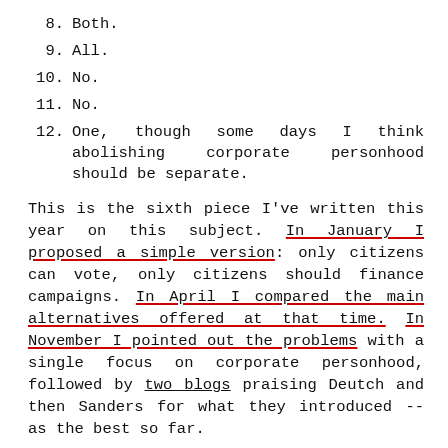8. Both.
9. All.
10. No.
11. No.
12. One, though some days I think abolishing corporate personhood should be separate.
This is the sixth piece I've written this year on this subject. In January I proposed a simple version: only citizens can vote, only citizens should finance campaigns. In April I compared the main alternatives offered at that time. In November I pointed out the problems with a single focus on corporate personhood, followed by two blogs praising Deutch and then Sanders for what they introduced -- as the best so far.